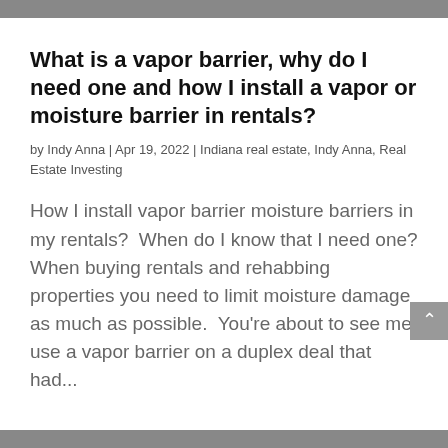[Figure (photo): Gray banner image at top of page]
What is a vapor barrier, why do I need one and how I install a vapor or moisture barrier in rentals?
by Indy Anna | Apr 19, 2022 | Indiana real estate, Indy Anna, Real Estate Investing
How I install vapor barrier moisture barriers in my rentals?  When do I know that I need one? When buying rentals and rehabbing properties you need to limit moisture damage as much as possible.  You're about to see me use a vapor barrier on a duplex deal that had...
[Figure (photo): Gray banner image at bottom of page]